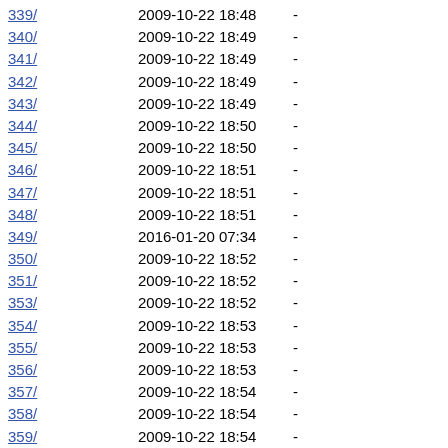339/ 2009-10-22 18:48 -
340/ 2009-10-22 18:49 -
341/ 2009-10-22 18:49 -
342/ 2009-10-22 18:49 -
343/ 2009-10-22 18:49 -
344/ 2009-10-22 18:50 -
345/ 2009-10-22 18:50 -
346/ 2009-10-22 18:51 -
347/ 2009-10-22 18:51 -
348/ 2009-10-22 18:51 -
349/ 2016-01-20 07:34 -
350/ 2009-10-22 18:52 -
351/ 2009-10-22 18:52 -
353/ 2009-10-22 18:52 -
354/ 2009-10-22 18:53 -
355/ 2009-10-22 18:53 -
356/ 2009-10-22 18:53 -
357/ 2009-10-22 18:54 -
358/ 2009-10-22 18:54 -
359/ 2009-10-22 18:54 -
360/ 2009-10-22 18:55